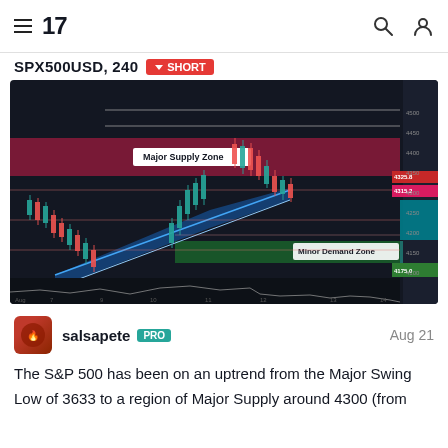TradingView navigation header with hamburger menu, TV logo, search icon, user icon
SPX500USD, 240 SHORT
[Figure (screenshot): TradingView candlestick chart for SPX500USD on 240-minute timeframe showing Major Supply Zone (red/crimson band ~4300 area), Minor Demand Zone (green band ~3900 area), a blue upward channel, and Fibonacci retracement levels. Price action shows uptrend from swing low around 3633 up into the supply zone.]
salsapete PRO  Aug 21
The S&P 500 has been on an uptrend from the Major Swing Low of 3633 to a region of Major Supply around 4300 (from